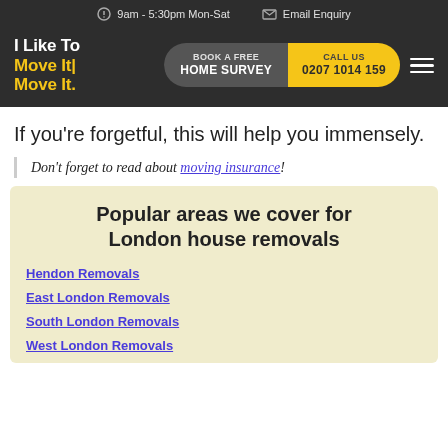9am - 5:30pm Mon-Sat   Email Enquiry
[Figure (logo): I Like To Move It Move It. company logo in white and yellow text on dark background]
BOOK A FREE HOME SURVEY | CALL US 0207 1014 159
If you're forgetful, this will help you immensely.
Don't forget to read about moving insurance!
Popular areas we cover for London house removals
Hendon Removals
East London Removals
South London Removals
West London Removals